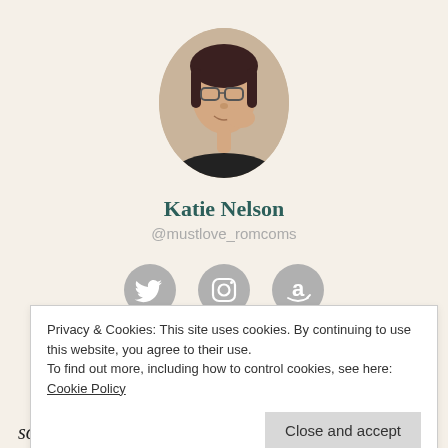[Figure (photo): Circular profile photo of a woman with glasses, dark hair, smiling, hand near her face]
Katie Nelson
@mustlove_romcoms
[Figure (illustration): Three social media icons: Twitter bird, Instagram camera, Amazon 'a' logo — all in grey circles]
Books    Blog    Contact
Privacy & Cookies: This site uses cookies. By continuing to use this website, you agree to their use.
To find out more, including how to control cookies, see here: Cookie Policy
Close and accept
something you need to attend to that day that